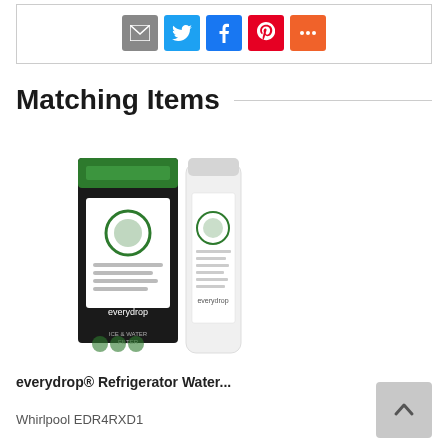[Figure (other): Social sharing buttons: email (grey), Twitter (blue), Facebook (blue), Pinterest (red), More (orange)]
Matching Items
[Figure (photo): everydrop refrigerator water filter product — box packaging and filter cartridge]
everydrop® Refrigerator Water...
Whirlpool EDR4RXD1